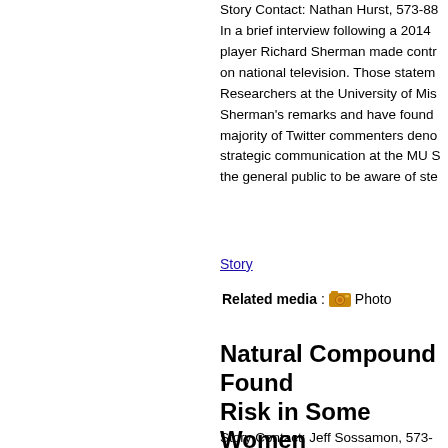Story Contact: Nathan Hurst, 573-88... In a brief interview following a 2014 player Richard Sherman made contr... on national television. Those statem... Researchers at the University of Mis... Sherman's remarks and have found... majority of Twitter commenters deno... strategic communication at the MU S... the general public to be aware of ste...
Story
Related media: Photo
Natural Compound Found... Risk in Some Women
Luteolin may inhibit growth of hu... hormone replacement therapy
September 8th, 2015
Story Contact: Jeff Sossamon, 573-...